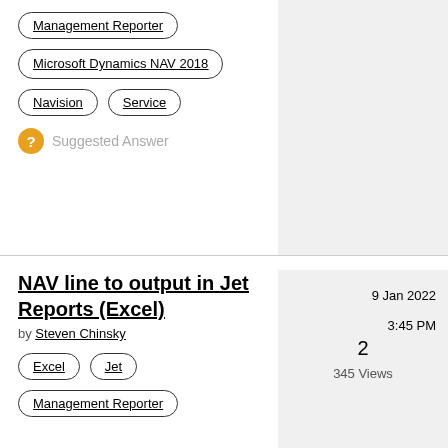Management Reporter
Microsoft Dynamics NAV 2018
Navision
Service
Suggested Answer
NAV line to output in Jet Reports (Excel)
by Steven Chinsky
2
345 Views
9 Jan 2022
3:45 PM
Excel
Jet
Management Reporter